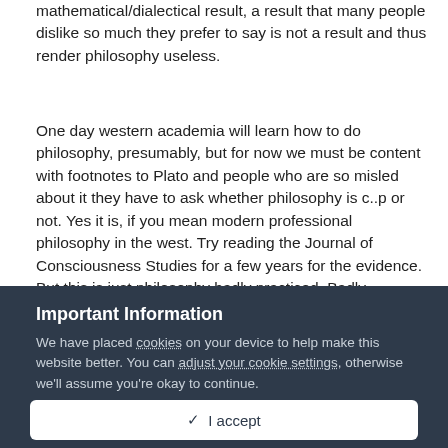mathematical/dialectical result, a result that many people dislike so much they prefer to say is not a result and thus render philosophy useless.
One day western academia will learn how to do philosophy, presumably, but for now we must be content with footnotes to Plato and people who are so misled about it they have to ask whether philosophy is c..p or not. Yes it is, if you mean modern professional philosophy in the west. Try reading the Journal of Consciousness Studies for a few years for the evidence. But this is just philosophy badly practiced. Badly practiced physics is c..p as well.
Important Information
We have placed cookies on your device to help make this website better. You can adjust your cookie settings, otherwise we'll assume you're okay to continue.
✓  I accept